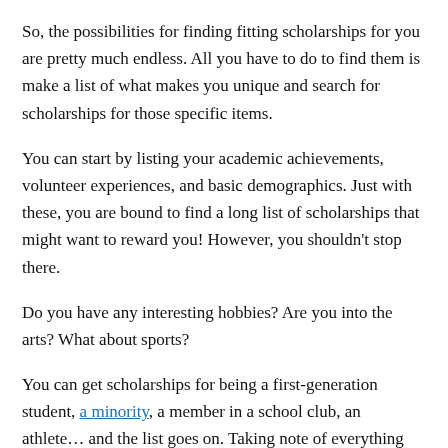So, the possibilities for finding fitting scholarships for you are pretty much endless. All you have to do to find them is make a list of what makes you unique and search for scholarships for those specific items.
You can start by listing your academic achievements, volunteer experiences, and basic demographics. Just with these, you are bound to find a long list of scholarships that might want to reward you! However, you shouldn't stop there.
Do you have any interesting hobbies? Are you into the arts? What about sports?
You can get scholarships for being a first-generation student, a minority, a member in a school club, an athlete… and the list goes on. Taking note of everything that makes you who you are will lead you to find incredible opportunities in the scholarship